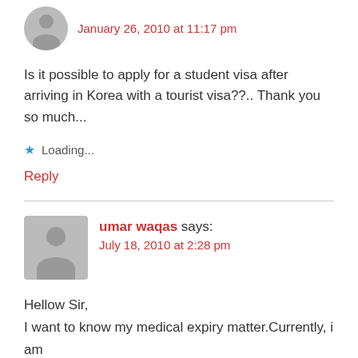January 26, 2010 at 11:17 pm
Is it possible to apply for a student visa after arriving in Korea with a tourist visa??.. Thank you so much...
Loading...
Reply
umar waqas says:
July 18, 2010 at 2:28 pm
Hellow Sir,
I want to know my medical expiry matter.Currently, i am in Dubai on empolyment visa
but i have my release paper (NOC) I am jobless here now